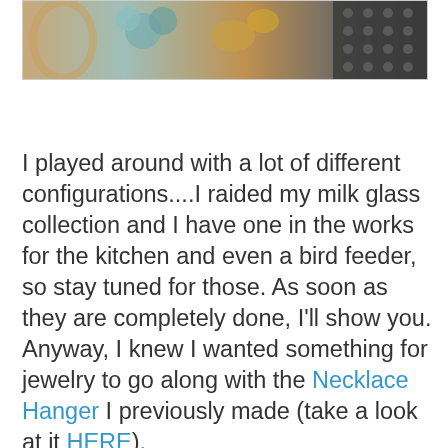[Figure (photo): Partial photo of decorative arrangement with teal/blue flowers, gold accents, and dark dotted texture on right side]
I played around with a lot of different configurations....I raided my milk glass collection and I have one in the works for the kitchen and even a bird feeder, so stay tuned for those. As soon as they are completely done, I'll show you. Anyway, I knew I wanted something for jewelry to go along with the Necklace Hanger I previously made (take a look at it HERE).
	After I found the right configuration and scale/proportion, I started from the bottom and glued up. I only glued a section at a time, let it